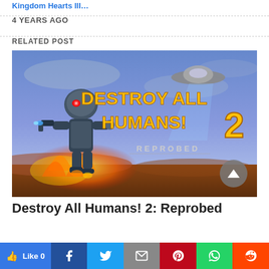Kingdom Hearts III...
4 YEARS AGO
RELATED POST
[Figure (photo): Promotional artwork for Destroy All Humans! 2: Reprobed video game, showing a small alien robot character with glowing red eyes holding weapons, with a UFO in the background and the game title in large yellow text.]
Destroy All Humans! 2: Reprobed